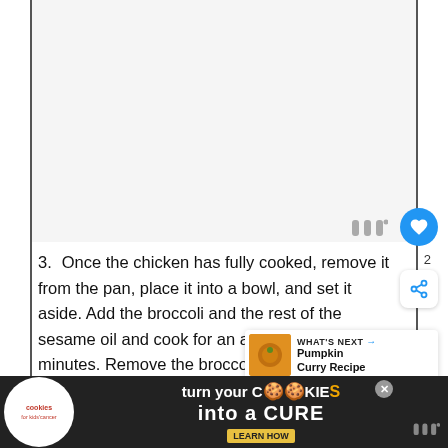[Figure (other): Large empty white/light gray content area representing a recipe image placeholder at top of page]
3. Once the chicken has fully cooked, remove it from the pan, place it into a bowl, and set it aside. Add the broccoli and the rest of the sesame oil and cook for an additional minutes. Remove the broccoli from the pan and place it in the bowl with the chicken.
[Figure (other): Whisk icon overlay (Whisk app icon) shown as stylized double vertical lines with superscript dot]
[Figure (other): Blue circular heart/save button with heart icon, overlaid on right side]
[Figure (other): What's Next panel showing Pumpkin Curry Recipe thumbnail with orange curry dish image]
[Figure (other): Advertisement banner: cookies for kids cancer - turn your cookies into a cure, learn how]